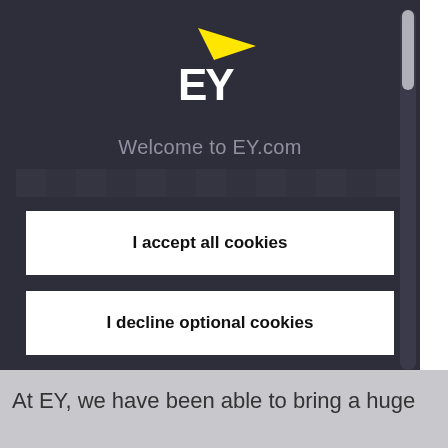[Figure (logo): EY logo with yellow triangular swoosh above white EY text on dark background]
Welcome to EY.com
I accept all cookies
I decline optional cookies
Customize cookies
At EY, we have been able to bring a huge